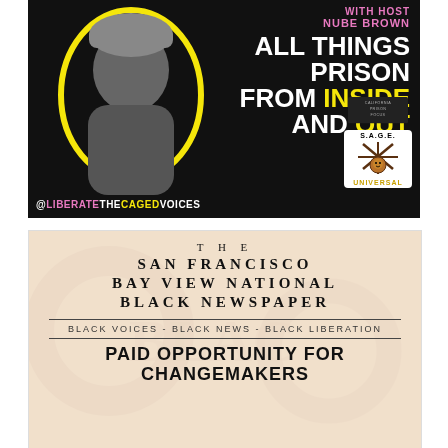[Figure (infographic): Advertisement for a podcast with host Nube Brown. Dark background with black and white photo of a woman wearing a knit beanie, outlined in yellow. Text reads: WITH HOST NUBE BROWN, ALL THINGS PRISON FROM INSIDE AND OUT. Bottom handle: @LIBERATETHECAGEDVOICES. Logos for California Prison Focus and SAGE Universal in bottom right corner.]
[Figure (infographic): Advertisement for The San Francisco Bay View National Black Newspaper. Light peachy background with faint newspaper imagery. Text: THE SAN FRANCISCO BAY VIEW NATIONAL BLACK NEWSPAPER / BLACK VOICES - BLACK NEWS - BLACK LIBERATION / PAID OPPORTUNITY FOR CHANGEMAKERS]